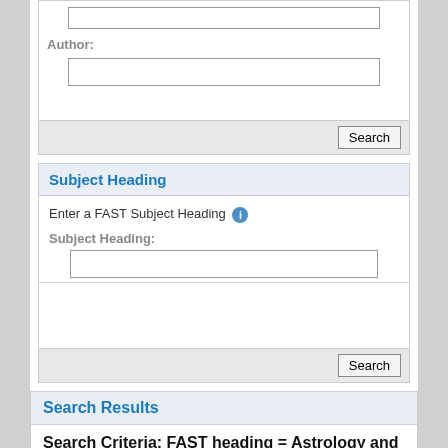Author:
Enter a FAST Subject Heading
Subject Heading
Subject Heading:
Search Results
Search Criteria: FAST heading = Astrology and marriage